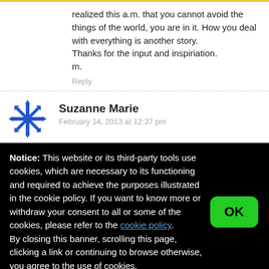realized this a.m. that you cannot avoid the things of the world, you are in it. How you deal with everything is another story.
Thanks for the input and inspiriation.
m.
Reply
Suzanne Marie
February 14, 2013 at 12:37 pm
Notice: This website or its third-party tools use cookies, which are necessary to its functioning and required to achieve the purposes illustrated in the cookie policy. If you want to know more or withdraw your consent to all or some of the cookies, please refer to the cookie policy.
By closing this banner, scrolling this page, clicking a link or continuing to browse otherwise, you agree to the use of cookies.